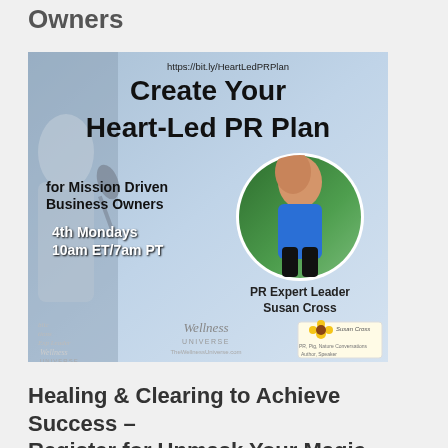Owners
[Figure (infographic): Promotional event image for 'Create Your Heart-Led PR Plan for Mission Driven Business Owners' — 4th Mondays 10am ET/7am PT, PR Expert Leader Susan Cross, hosted by Wellness Universe. URL: https://bit.ly/HeartLedPRPlan]
Healing & Clearing to Achieve Success – Register for Unmask Your Magic